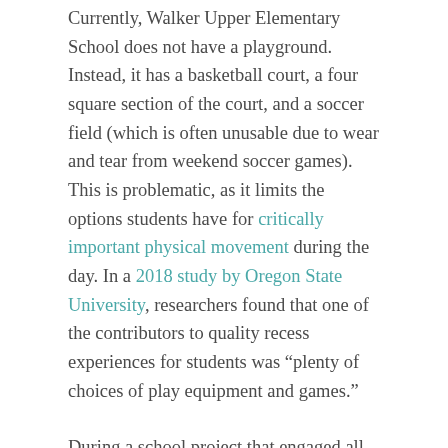Currently, Walker Upper Elementary School does not have a playground. Instead, it has a basketball court, a four square section of the court, and a soccer field (which is often unusable due to wear and tear from weekend soccer games). This is problematic, as it limits the options students have for critically important physical movement during the day. In a 2018 study by Oregon State University, researchers found that one of the contributors to quality recess experiences for students was “plenty of choices of play equipment and games.”
During a school project that engaged all sixth-graders at Walker in fall 2018, students identified a playground as one of the top things they wanted for their school.
The lack of a Walker playground is particularly unfortunate because it is at this upper elementary divide